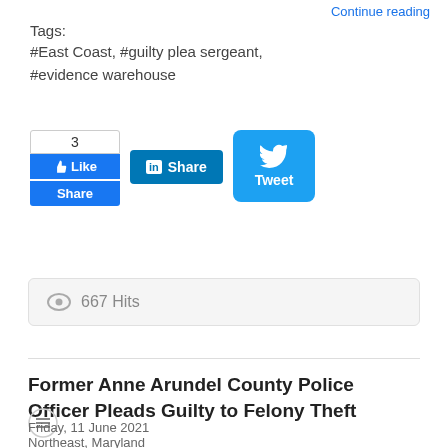Continue reading
Tags:
#East Coast, #guilty plea sergeant,
#evidence warehouse
[Figure (screenshot): Social media share buttons: Facebook Like (count 3) and Share, LinkedIn Share, Twitter Tweet buttons]
667 Hits
Former Anne Arundel County Police Officer Pleads Guilty to Felony Theft
Friday, 11 June 2021
Northeast, Maryland
The witness believed that Miskill was returning to the